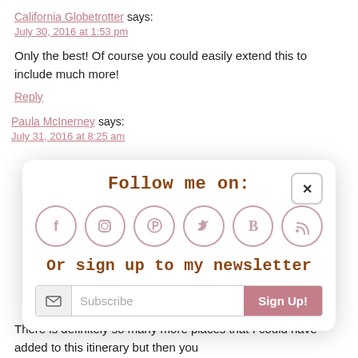California Globetrotter says:
July 30, 2016 at 1:53 pm
Only the best! Of course you could easily extend this to include much more!
Reply
Paula McInerney says:
July 31, 2016 at 8:25 am
[Figure (screenshot): Modal popup overlay with 'Follow me on:' heading and social media icons (Facebook, Instagram, Pinterest, Twitter, Bloglovin, RSS), a newsletter signup section 'Or sign up to my newsletter' with a Subscribe input field and Sign Up! button, and an X close button.]
There is definitely so many more places that I could have added to this itinerary but then you